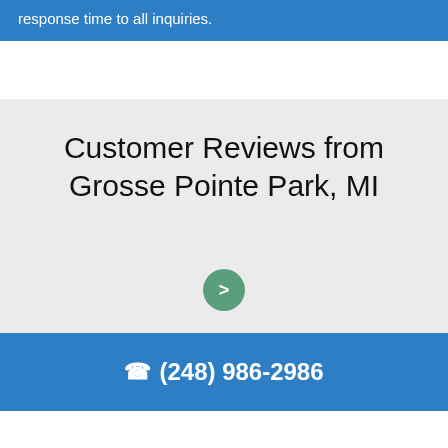response time to all inquiries.
Customer Reviews from Grosse Pointe Park, MI
>
(248) 986-2986